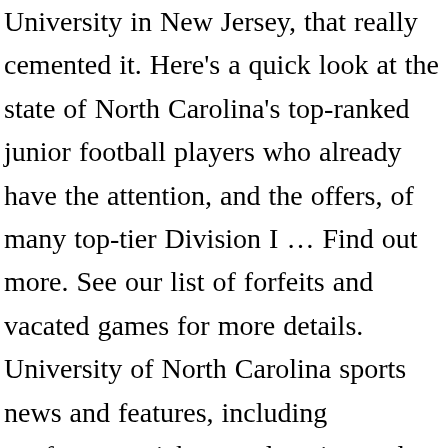University in New Jersey, that really cemented it. Here's a quick look at the state of North Carolina's top-ranked junior football players who already have the attention, and the offers, of many top-tier Division I … Find out more. See our list of forfeits and vacated games for more details. University of North Carolina sports news and features, including conference, nickname, location and official social media handles. As a matter of policy, Sports Reference only reports the results of games as played on the field. Already the unquestioned No. From Wikipedia, the free encyclopedia The 2018